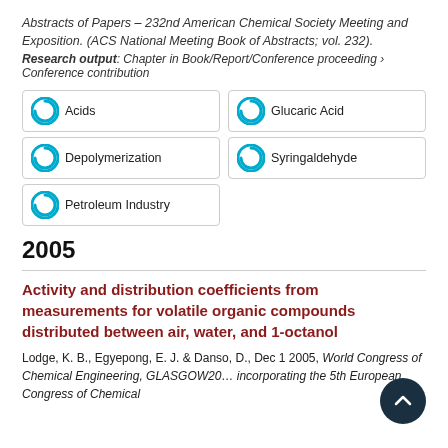Abstracts of Papers – 232nd American Chemical Society Meeting and Exposition. (ACS National Meeting Book of Abstracts; vol. 232).
Research output: Chapter in Book/Report/Conference proceeding › Conference contribution
100% Acids
100% Glucaric Acid
100% Depolymerization
100% Syringaldehyde
100% Petroleum Industry
2005
Activity and distribution coefficients from measurements for volatile organic compounds distributed between air, water, and 1-octanol
Lodge, K. B., Egyepong, E. J. & Danso, D., Dec 1 2005, World Congress of Chemical Engineering, GLASGOW2005 incorporating the 5th European Congress of Chemical